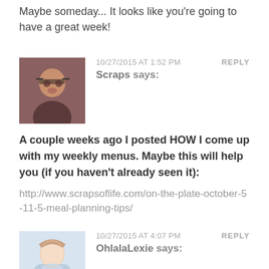Maybe someday... It looks like you're going to have a great week!
[Figure (photo): Avatar photo of commenter Scraps - woman with glasses]
10/27/2015 AT 1:52 PM
REPLY
Scraps says:
A couple weeks ago I posted HOW I come up with my weekly menus. Maybe this will help you (if you haven't already seen it):
http://www.scrapsoflife.com/on-the-plate-october-5-11-5-meal-planning-tips/
[Figure (photo): Avatar photo of commenter OhlalaLexie - woman in light blue dress]
10/27/2015 AT 4:07 PM
REPLY
OhlalaLexie says:
oh my gosh you are making me so incredibly hungry for these yummies right now!!!! How delish!!